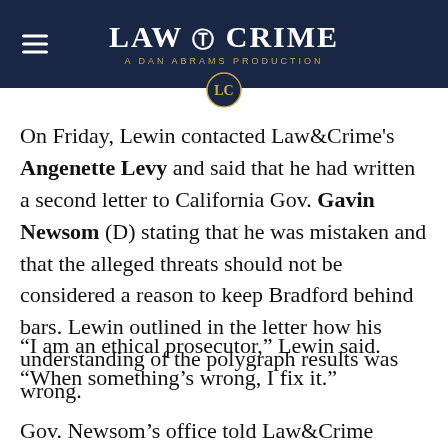LAW & CRIME — A DAN ABRAMS PRODUCTION
On Friday, Lewin contacted Law&Crime's Angenette Levy and said that he had written a second letter to California Gov. Gavin Newsom (D) stating that he was mistaken and that the alleged threats should not be considered a reason to keep Bradford behind bars. Lewin outlined in the letter how his understanding of the polygraph results was wrong.
“I am an ethical prosecutor,” Lewin said. “When something’s wrong, I fix it.”
Gov. Newsom’s office told Law&Crime earlier this